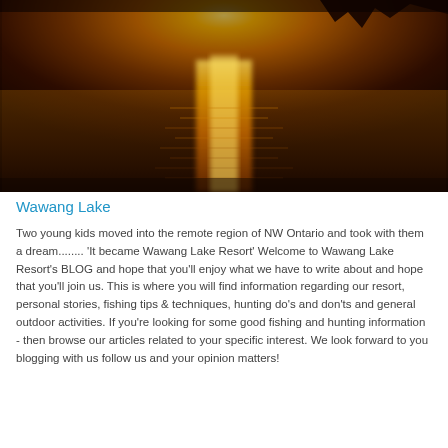[Figure (photo): Sunset reflection over a lake, warm golden and amber tones with rocky silhouette in upper right corner. Water reflects a bright golden vertical column of light from the setting sun.]
Wawang Lake
Two young kids moved into the remote region of NW Ontario and took with them a dream........ 'It became Wawang Lake Resort' Welcome to Wawang Lake Resort's BLOG and hope that you'll enjoy what we have to write about and hope that you'll join us. This is where you will find information regarding our resort, personal stories, fishing tips & techniques, hunting do's and don'ts and general outdoor activities. If you're looking for some good fishing and hunting information - then browse our articles related to your specific interest. We look forward to you blogging with us follow us and your opinion matters!